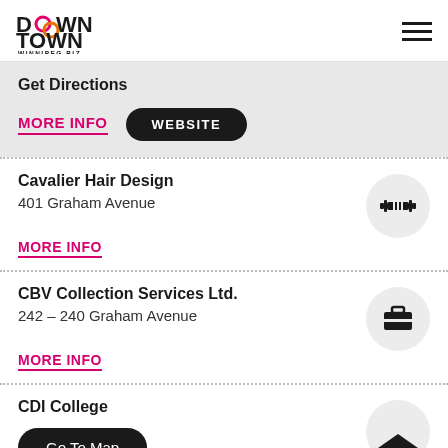Downtown Winnipeg Biz
Get Directions
MORE INFO
WEBSITE
Cavalier Hair Design
401 Graham Avenue
MORE INFO
CBV Collection Services Ltd.
242 – 240 Graham Avenue
MORE INFO
CDI College
Go To Map